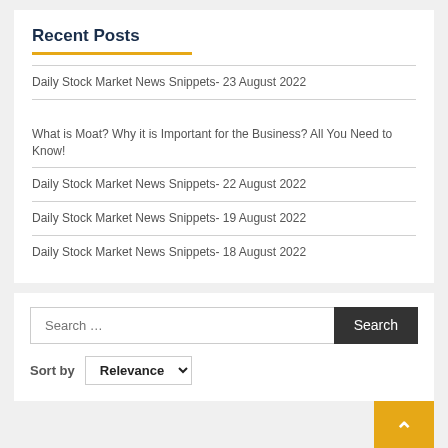Recent Posts
Daily Stock Market News Snippets- 23 August 2022
What is Moat? Why it is Important for the Business? All You Need to Know!
Daily Stock Market News Snippets- 22 August 2022
Daily Stock Market News Snippets- 19 August 2022
Daily Stock Market News Snippets- 18 August 2022
Search ... [Search button] Sort by Relevance
Articles By Category
Select Category